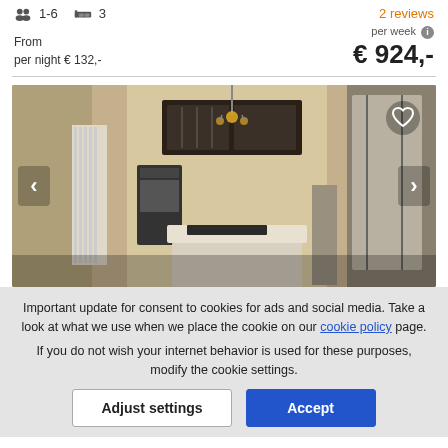1-6   3   2 reviews
From
per night € 132,-
per week  € 924,-
[Figure (photo): Interior photo of a modern kitchen with white island, dark upper cabinets, built-in appliances, white radiator on left, chandelier ceiling light, and glass door in background. Navigation arrows on sides, heart/favorite icon top right.]
Important update for consent to cookies for ads and social media. Take a look at what we use when we place the cookie on our cookie policy page.
If you do not wish your internet behavior is used for these purposes, modify the cookie settings.
Adjust settings   Accept